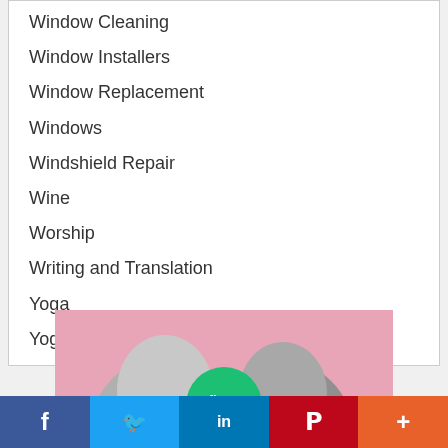Window Cleaning
Window Installers
Window Replacement
Windows
Windshield Repair
Wine
Worship
Writing and Translation
Yoga
Yoga
[Figure (photo): Fiverr advertisement banner showing two people (a woman on the left and a man on the right) with a green Fiverr logo circle in the center, set against a pink background]
[Figure (infographic): Social media share bar with Facebook (blue), Twitter (light blue), LinkedIn (dark blue), Pinterest (red), and More (orange) buttons]